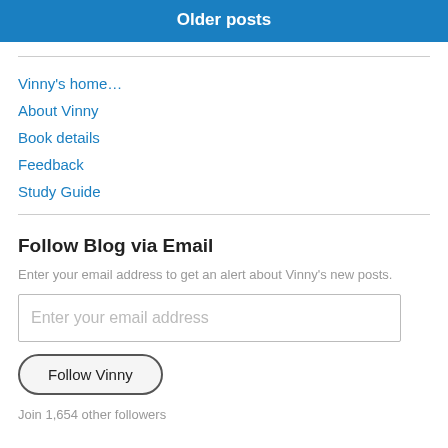Older posts
Vinny's home…
About Vinny
Book details
Feedback
Study Guide
Follow Blog via Email
Enter your email address to get an alert about Vinny's new posts.
Enter your email address
Follow Vinny
Join 1,654 other followers